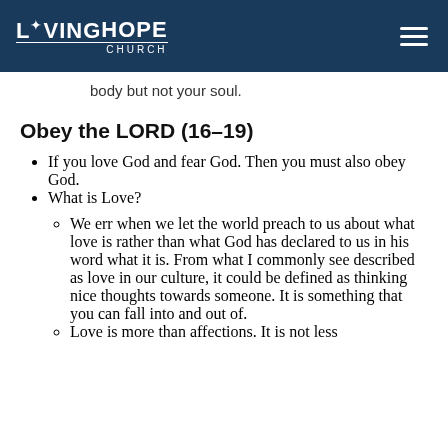Living Hope Church
body but not your soul.
Obey the LORD (16–19)
If you love God and fear God. Then you must also obey God.
What is Love?
We err when we let the world preach to us about what love is rather than what God has declared to us in his word what it is. From what I commonly see described as love in our culture, it could be defined as thinking nice thoughts towards someone. It is something that you can fall into and out of.
Love is more than affections. It is not less